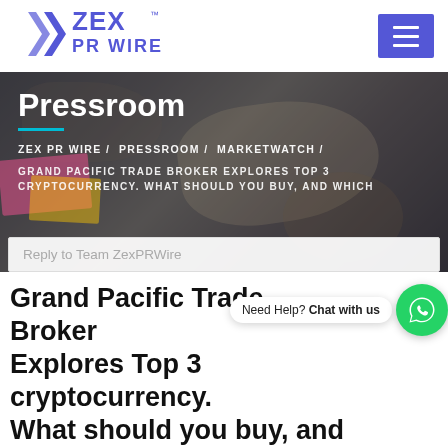[Figure (logo): ZEX PR WIRE logo with blue stylized Y/Z chevron mark and blue text]
[Figure (other): Blue hamburger menu button with three white horizontal lines]
[Figure (photo): Dark-overlay photo of people working at a table with papers and documents]
Pressroom
ZEX PR WIRE / PRESSROOM / MARKETWATCH /
GRAND PACIFIC TRADE BROKER EXPLORES TOP 3 CRYPTOCURRENCY. WHAT SHOULD YOU BUY, AND WHICH
Reply to Team ZexPRWire
Grand Pacific Trade Broker Explores Top 3 cryptocurrency. What should you buy, and which ones should you avoid!
Need Help? Chat with us